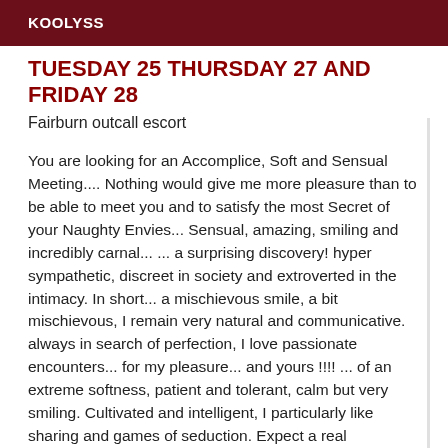KOOLYSS
TUESDAY 25 THURSDAY 27 AND FRIDAY 28
Fairburn outcall escort
You are looking for an Accomplice, Soft and Sensual Meeting.... Nothing would give me more pleasure than to be able to meet you and to satisfy the most Secret of your Naughty Envies... Sensual, amazing, smiling and incredibly carnal... ... a surprising discovery! hyper sympathetic, discreet in society and extroverted in the intimacy. In short... a mischievous smile, a bit mischievous, I remain very natural and communicative. always in search of perfection, I love passionate encounters... for my pleasure... and yours !!!! ... of an extreme softness, patient and tolerant, calm but very smiling. Cultivated and intelligent, I particularly like sharing and games of seduction. Expect a real exchange, laughter, sensuality and great human warmth